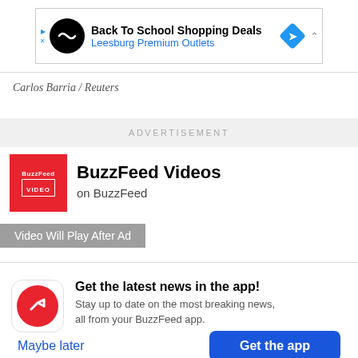[Figure (screenshot): Mobile advertisement banner for Back To School Shopping Deals at Leesburg Premium Outlets with a black circle logo and blue diamond navigation icon]
Carlos Barria / Reuters
ADVERTISEMENT
[Figure (logo): BuzzFeed Video red square logo with white text]
BuzzFeed Videos on BuzzFeed
Video Will Play After Ad
Get the latest news in the app! Stay up to date on the most breaking news, all from your BuzzFeed app.
Maybe later
Get the app